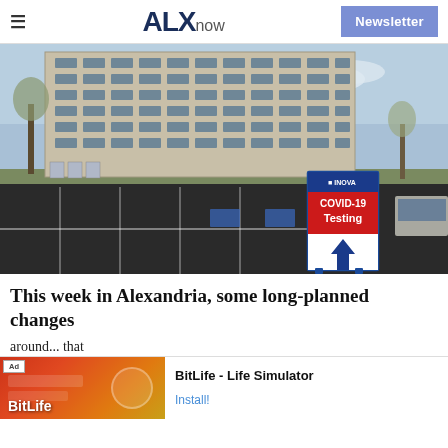ALXnow | Newsletter
[Figure (photo): Exterior photo of a large multi-story office building with a parking lot in the foreground. An Inova COVID-19 Testing sign with an upward arrow is prominently displayed in the parking lot.]
This week in Alexandria, some long-planned changes
around... that the Vi... with dri...
[Figure (screenshot): Advertisement overlay for BitLife - Life Simulator mobile app with Install button]